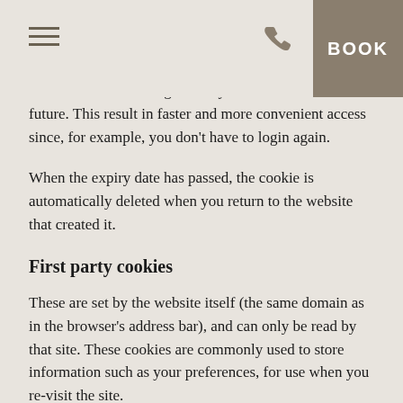BOOK
information and settings when you visit them in the future. This result in faster and more convenient access since, for example, you don't have to login again.
When the expiry date has passed, the cookie is automatically deleted when you return to the website that created it.
First party cookies
These are set by the website itself (the same domain as in the browser's address bar), and can only be read by that site. These cookies are commonly used to store information such as your preferences, for use when you re-visit the site.
Third party cookies
These are set by different domains from the one shown